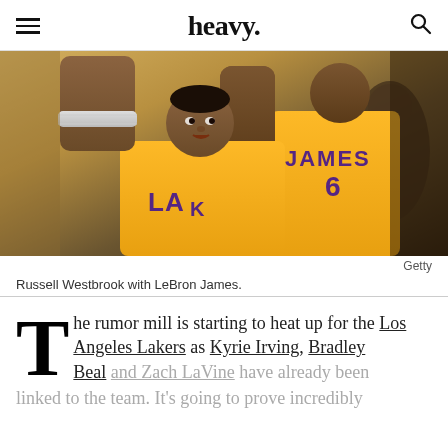heavy.
[Figure (photo): Russell Westbrook and LeBron James in Lakers yellow uniforms during a game]
Getty
Russell Westbrook with LeBron James.
The rumor mill is starting to heat up for the Los Angeles Lakers as Kyrie Irving, Bradley Beal and Zach LaVine have already been linked to the team. It's going to prove incredibly